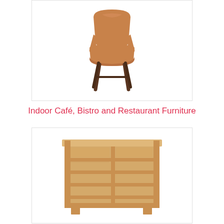[Figure (photo): A modern tan/cognac leather dining chair with curved back and dark walnut-colored wooden legs, shown on white background]
Indoor Café, Bistro and Restaurant Furniture
[Figure (photo): A light natural wood shelving unit/cubby organizer with multiple rectangular compartments arranged in a grid, shown on white background]